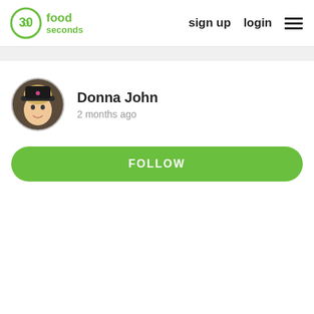30seconds food | sign up | login
Donna John
2 months ago
FOLLOW